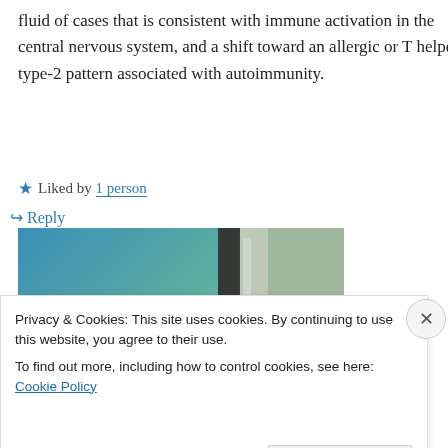fluid of cases that is consistent with immune activation in the central nervous system, and a shift toward an allergic or T helper type-2 pattern associated with autoimmunity.
★ Liked by 1 person
↪ Reply
[Figure (screenshot): Advertisement banner showing 'immersive stories.' text on a teal gradient background with a photo of a person in a yellow jacket near a waterfall]
Privacy & Cookies: This site uses cookies. By continuing to use this website, you agree to their use.
To find out more, including how to control cookies, see here: Cookie Policy
Close and accept